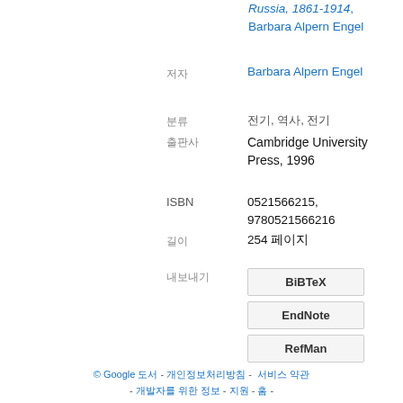Russia, 1861-1914, Barbara Alpern Engel
저자: Barbara Alpern Engel
분류: 전기, 역사, 전기
출판사: Cambridge University Press, 1996
ISBN: 0521566215, 9780521566216
길이: 254 페이지
내보내기: BiBTeX, EndNote, RefMan
© Google 도서 - 개인정보처리방침 - 서비스 약관 - 개발자를 위한 정보 - 지원 - 홈 -